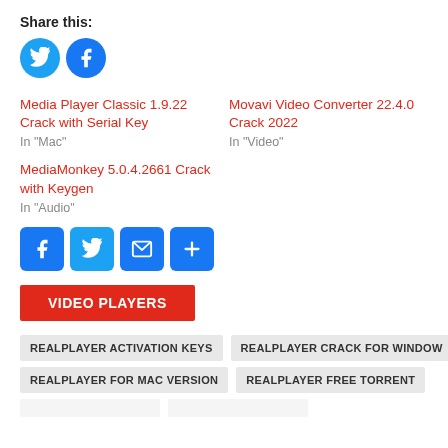Share this:
[Figure (illustration): Two social share buttons: Twitter (blue circle with bird icon) and Facebook (blue circle with f icon)]
Media Player Classic 1.9.22 Crack with Serial Key
In "Mac"
Movavi Video Converter 22.4.0 Crack 2022
In "Video"
MediaMonkey 5.0.4.2661 Crack with Keygen
In "Audio"
[Figure (illustration): Four social share buttons: Facebook (blue square), Twitter (blue square), Email (blue square with envelope), Share/More (blue square with plus)]
VIDEO PLAYERS
REALPLAYER ACTIVATION KEYS
REALPLAYER CRACK FOR WINDOW
REALPLAYER FOR MAC VERSION
REALPLAYER FREE TORRENT